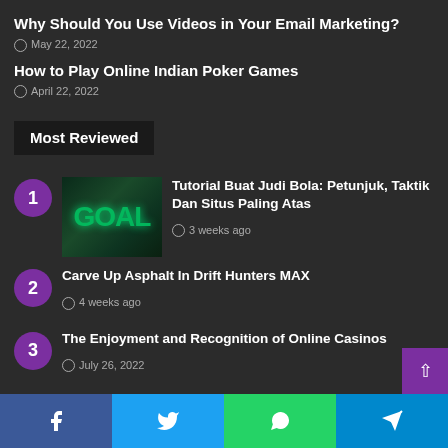Why Should You Use Videos in Your Email Marketing?
May 22, 2022
How to Play Online Indian Poker Games
April 22, 2022
Most Reviewed
1. Tutorial Buat Judi Bola: Petunjuk, Taktik Dan Situs Paling Atas — 3 weeks ago
2. Carve Up Asphalt In Drift Hunters MAX — 4 weeks ago
3. The Enjoyment and Recognition of Online Casinos — July 26, 2022
4. Why Should You Use Videos in Your Email Marketing? — May 22, 2022
Facebook | Twitter | WhatsApp | Telegram